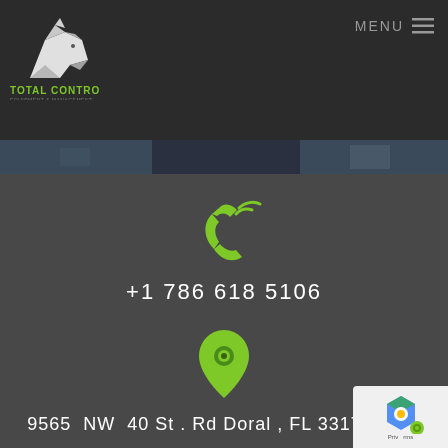[Figure (logo): Total Control Equipment & Management logo with white geometric rhino and green text]
MENU
[Figure (photo): Partial photo strip showing industrial/equipment scenes]
[Figure (illustration): Green phone/call icon with signal waves]
+1 786 618 5106
[Figure (illustration): Green location pin / map marker icon]
9565  NW  40 St . Rd Doral , FL 33178